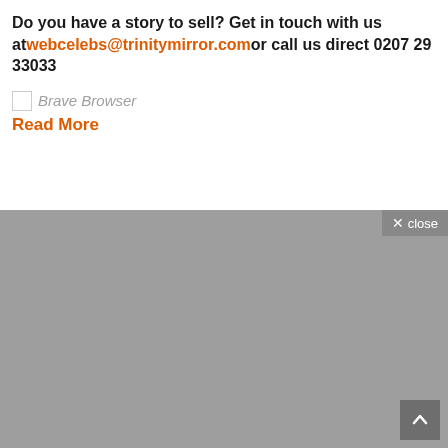Do you have a story to sell? Get in touch with us at webcelebs@trinitymirror.com or call us direct 0207 29 33033
[Figure (screenshot): Broken image placeholder with alt text 'Brave Browser' followed by orange 'Read More' link]
[Figure (screenshot): Gray placeholder area representing a blocked/loading advertisement or image, with a close button overlay in top-right and a scroll-to-top button in the bottom-right corner]